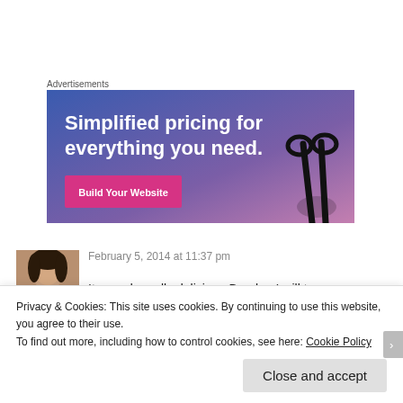Advertisements
[Figure (screenshot): Advertisement banner with gradient blue-purple background. Text reads 'Simplified pricing for everything you need.' with a pink button and a hand holding glasses on the right side.]
February 5, 2014 at 11:37 pm
[Figure (photo): Avatar photo of a woman with dark hair.]
It sounds really delicious Brooke, I will try
Privacy & Cookies: This site uses cookies. By continuing to use this website, you agree to their use.
To find out more, including how to control cookies, see here: Cookie Policy
Close and accept